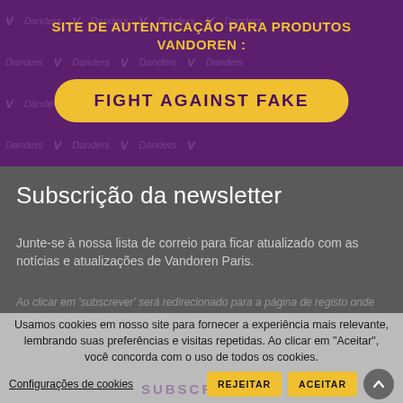[Figure (screenshot): Purple banner with Vandoren watermark logo pattern in background]
SITE DE AUTENTICAÇÃO PARA PRODUTOS VANDOREN :
FIGHT AGAINST FAKE
Subscrição da newsletter
Junte-se à nossa lista de correio para ficar atualizado com as notícias e atualizações de Vandoren Paris.
Ao clicar em 'subscrever' será redirecionado para a página de registo onde poderá subscrever à newsletter.
Usamos cookies em nosso site para fornecer a experiência mais relevante, lembrando suas preferências e visitas repetidas. Ao clicar em "Aceitar", você concorda com o uso de todos os cookies.
Configurações de cookies
REJEITAR
ACEITAR